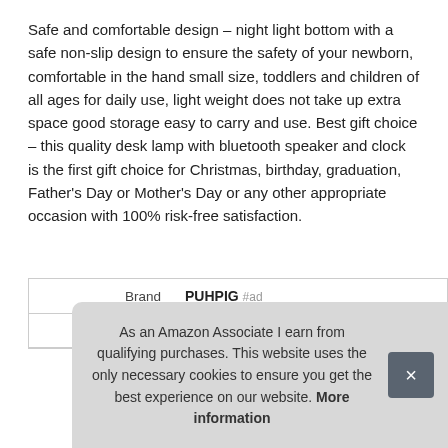Safe and comfortable design – night light bottom with a safe non-slip design to ensure the safety of your newborn, comfortable in the hand small size, toddlers and children of all ages for daily use, light weight does not take up extra space good storage easy to carry and use. Best gift choice – this quality desk lamp with bluetooth speaker and clock is the first gift choice for Christmas, birthday, graduation, Father's Day or Mother's Day or any other appropriate occasion with 100% risk-free satisfaction.
| Brand | PUHPIG #ad |
| Ma |  |
As an Amazon Associate I earn from qualifying purchases. This website uses the only necessary cookies to ensure you get the best experience on our website. More information